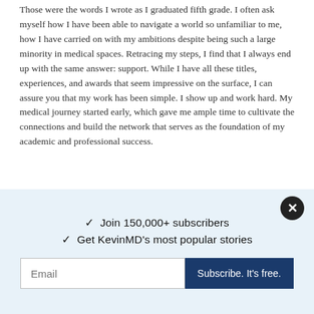Those were the words I wrote as I graduated fifth grade. I often ask myself how I have been able to navigate a world so unfamiliar to me, how I have carried on with my ambitions despite being such a large minority in medical spaces. Retracing my steps, I find that I always end up with the same answer: support. While I have all these titles, experiences, and awards that seem impressive on the surface, I can assure you that my work has been simple. I show up and work hard. My medical journey started early, which gave me ample time to cultivate the connections and build the network that serves as the foundation of my academic and professional success.
✓ Join 150,000+ subscribers
✓ Get KevinMD's most popular stories